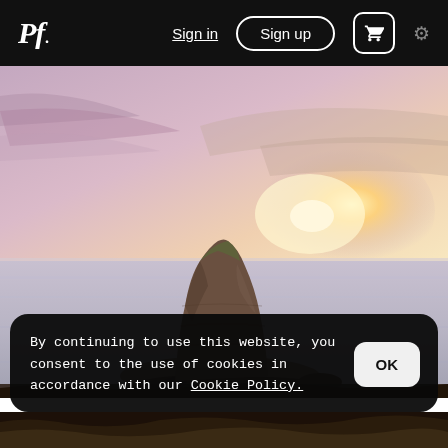Pf. | Sign in | Sign up | cart | settings
[Figure (photo): Long-exposure coastal landscape photo showing a large rock formation in calm, silky water with a pink and orange sunset sky behind it.]
By continuing to use this website, you consent to the use of cookies in accordance with our Cookie Policy.
[Figure (photo): Bottom strip showing rocky coastal scene, partially visible.]